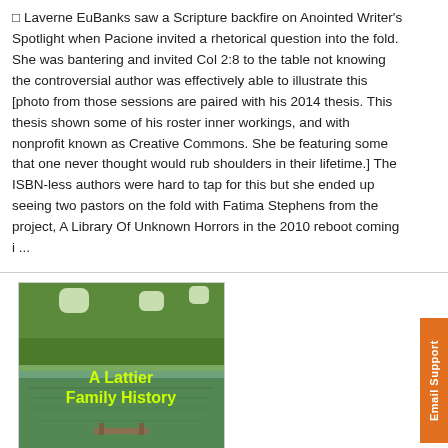◻ Laverne EuBanks saw a Scripture backfire on Anointed Writer's Spotlight when Pacione invited a rhetorical question into the fold. She was bantering and invited Col 2:8 to the table not knowing the controversial author was effectively able to illustrate this [photo from those sessions are paired with his 2014 thesis. This thesis shown some of his roster inner workings, and with nonprofit known as Creative Commons. She be featuring some that one never thought would rub shoulders in their lifetime.] The ISBN-less authors were hard to tap for this but she ended up seeing two pastors on the fold with Fatima Stephens from the project, A Library Of Unknown Horrors in the 2010 reboot coming i ...
[Figure (illustration): Book cover for 'A Lattier Family History' showing a scenic lake or pond with trees and a dock reflected in the water. The title text appears in yellow-green color.]